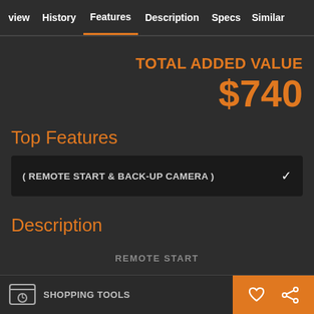view | History | Features | Description | Specs | Similar
TOTAL ADDED VALUE $740
Top Features
( REMOTE START & BACK-UP CAMERA )
Description
REMOTE START
SHOPPING TOOLS